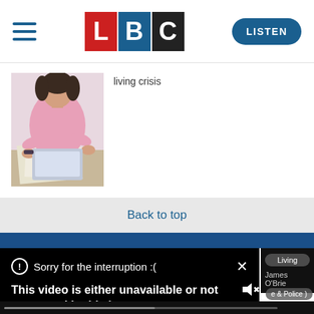[Figure (logo): LBC logo with L in red, B in dark blue, C in black, with hamburger menu on the left and LISTEN button on the right]
[Figure (photo): Photo of a woman sitting at a table working/studying, with pink top, dark hair]
living crisis
Back to top
Sorry for the interruption :(
This video is either unavailable or not supported in this browser. Please refresh your browser.
Error Code: MEDIA ERR SRC NOT SUPPORTED